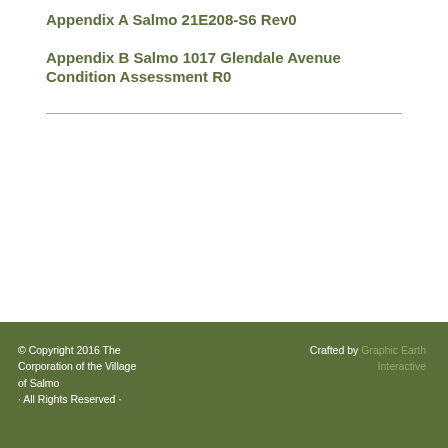Appendix A Salmo 21E208-S6 Rev0
Appendix B Salmo 1017 Glendale Avenue Condition Assessment R0
© Copyright 2016 The Corporation of the Village of Salmo · All Rights Reserved · Crafted by Graphic Earth Interactive